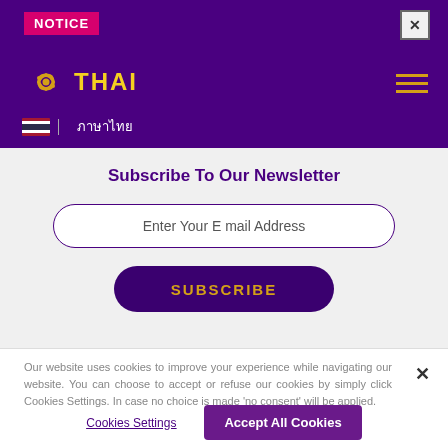NOTICE
[Figure (logo): Thai Airways International logo with orchid symbol and THAI text in gold on purple background]
ภาษาไทย
Subscribe To Our Newsletter
Enter Your E mail Address
SUBSCRIBE
Our website uses cookies to improve your experience while navigating our website. You can choose to accept or refuse our cookies by simply click Cookies Settings. In case no choice is made 'no consent' will be applied.
Cookies Settings
Accept All Cookies